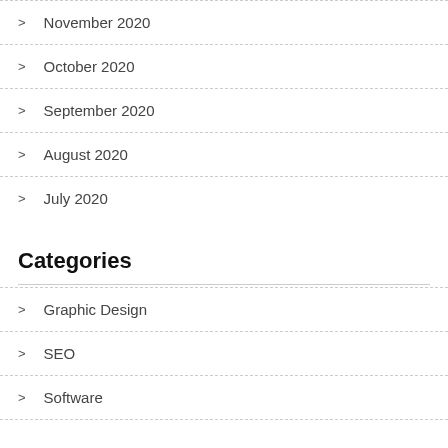November 2020
October 2020
September 2020
August 2020
July 2020
Categories
Graphic Design
SEO
Software